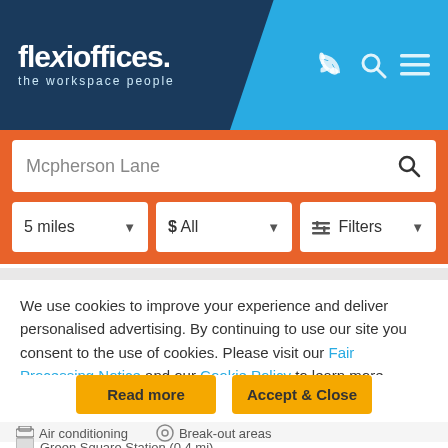[Figure (logo): Flexioffices logo - white text on dark blue background with light blue right section containing phone, search, and menu icons]
[Figure (screenshot): Search bar with text 'Mcpherson Lane' and filter dropdowns: '5 miles', '$ All', 'Filters' on orange background]
We use cookies to improve your experience and deliver personalised advertising. By continuing to use our site you consent to the use of cookies. Please visit our Fair Processing Notice and our Cookie Policy to learn more.
Read more | Accept & Close
Air conditioning   Break-out areas
Green Square Station (0.4 mi)
Market (1.3 mi)